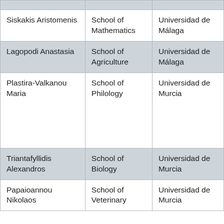|  |  |  |
| Siskakis Aristomenis | School of Mathematics | Universidad de Málaga |
| Lagopodi Anastasia | School of Agriculture | Universidad de Málaga |
| Plastira-Valkanou Maria | School of Philology | Universidad de Murcia |
| Triantafyllidis Alexandros | School of Biology | Universidad de Murcia |
| Papaioannou Nikolaos | School of Veterinary | Universidad de Murcia |